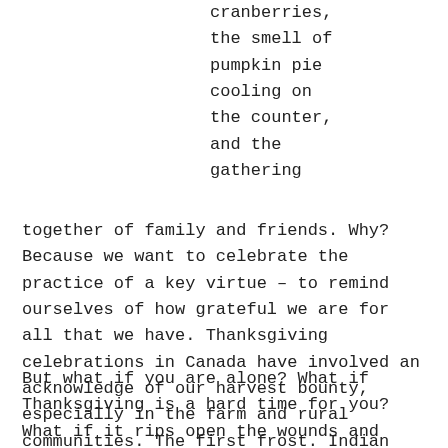cranberries, the smell of pumpkin pie cooling on the counter, and the gathering together of family and friends. Why? Because we want to celebrate the practice of a key virtue – to remind ourselves of how grateful we are for all that we have. Thanksgiving celebrations in Canada have involved an acknowledge of our harvest bounty, especially in the farm and rural communities. The first frost. Indian Summer. An array of colourful leaves. The fattened up turkey who is waddling through the farm yard looking for escape from his own pilgrimage.
But what if you are alone? What if Thanksgiving is a hard time for you? What if it rips open the wounds and reminds you of loss, and grief, of lost dreams?